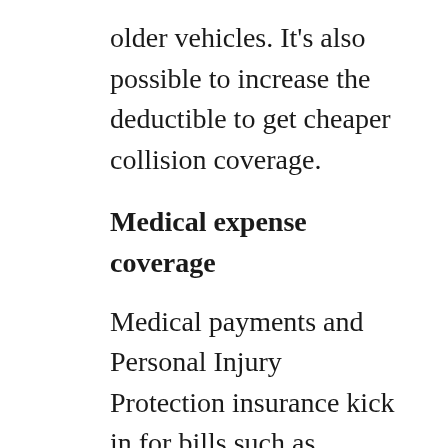older vehicles. It's also possible to increase the deductible to get cheaper collision coverage.
Medical expense coverage
Medical payments and Personal Injury Protection insurance kick in for bills such as rehabilitation expenses, surgery, nursing services, ambulance fees and chiropractic care. They can be used to fill the gap from your health insurance policy or if you lack health insurance entirely. It covers you and your occupants and also covers if you are hit as a while walking down the